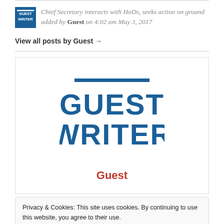Chief Secretary interacts with HoDs, seeks action on ground added by Guest on 4:02 am May 3, 2017
View all posts by Guest →
[Figure (logo): Guest Writer logo — bold blue text GUEST WRITER with a horizontal blue bar above, centered in a white card]
Guest
Privacy & Cookies: This site uses cookies. By continuing to use this website, you agree to their use.
To find out more, including how to control cookies, see here: Cookie Policy
Close and accept